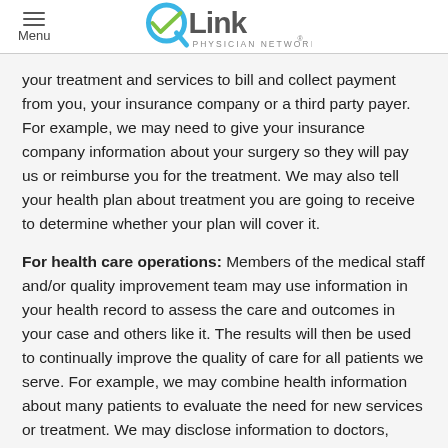Menu | QLink Physician Network
your treatment and services to bill and collect payment from you, your insurance company or a third party payer. For example, we may need to give your insurance company information about your surgery so they will pay us or reimburse you for the treatment. We may also tell your health plan about treatment you are going to receive to determine whether your plan will cover it.
For health care operations: Members of the medical staff and/or quality improvement team may use information in your health record to assess the care and outcomes in your case and others like it. The results will then be used to continually improve the quality of care for all patients we serve. For example, we may combine health information about many patients to evaluate the need for new services or treatment. We may disclose information to doctors, nurses, and other students for educational purposes. And we may combine health information we have with that of other facilities to